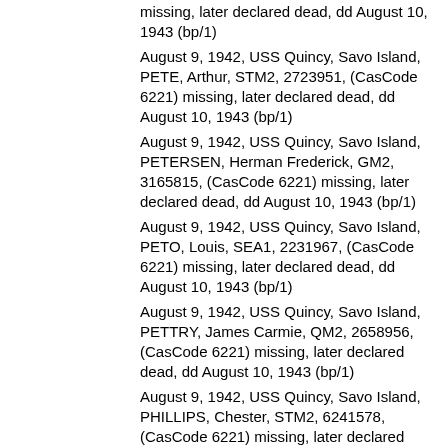missing, later declared dead, dd August 10, 1943 (bp/1)
August 9, 1942, USS Quincy, Savo Island, PETE, Arthur, STM2, 2723951, (CasCode 6221) missing, later declared dead, dd August 10, 1943 (bp/1)
August 9, 1942, USS Quincy, Savo Island, PETERSEN, Herman Frederick, GM2, 3165815, (CasCode 6221) missing, later declared dead, dd August 10, 1943 (bp/1)
August 9, 1942, USS Quincy, Savo Island, PETO, Louis, SEA1, 2231967, (CasCode 6221) missing, later declared dead, dd August 10, 1943 (bp/1)
August 9, 1942, USS Quincy, Savo Island, PETTRY, James Carmie, QM2, 2658956, (CasCode 6221) missing, later declared dead, dd August 10, 1943 (bp/1)
August 9, 1942, USS Quincy, Savo Island, PHILLIPS, Chester, STM2, 6241578, (CasCode 6221) missing, later declared dead, dd August 10, 1943 (bp/1)
August 9, 1942, USS Quincy, Savo Island, PICKETT, John Louis, BM1, 3370478, (CasCode 6221) missing, later declared dead, dd August 10, 1943 (bp/1)
August 9, 1942, USS Quincy, Savo Island, PIPPIN, Edd, Jr, SF2, 2722672, (CasCode 6221) missing, later declared dead, dd August 10, 1943 (bp/1)
August 9, 1942, USS Quincy, Savo Island, PIPPIN, Willie Morgan, SEA2, 2727310, (CasCode 6221) missing, later declared dead, dd August 10, 1943 (bp/1)
August 9, 1942, USS Quincy, Savo Island, PIRONE, Ralph Antonio, F3, 2240732, (CasCode 6221) missing, later declared dead, dd August 10, 1942 (bp/1)
August 9, 1942, USS Quincy, Savo Island, POOLE, Hilton Gordon, CFMP, 2741112, (CasCode 6221)